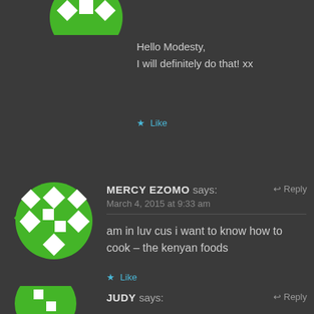[Figure (illustration): Partial green avatar circle at top of page]
Hello Modesty,
I will definitely do that! xx
★ Like
[Figure (illustration): Green circular avatar with white diamond and square pattern - Mercy Ezomo]
MERCY EZOMO says:
↩ Reply
March 4, 2015 at 9:33 am
am in luv cus i want to know how to cook – the kenyan foods
★ Like
[Figure (illustration): Partial green avatar circle at bottom of page - Judy]
JUDY says:
↩ Reply